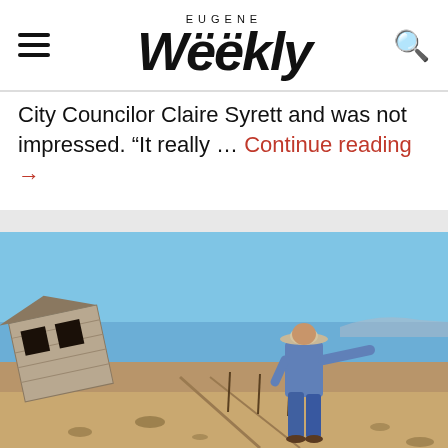EUGENE Weekly
City Councilor Claire Syrett and was not impressed. “It really … Continue reading →
[Figure (photo): A man wearing a hat and blue long-sleeve shirt stands on dry, barren land pointing to the right, with a dilapidated wooden structure leaning on the left side. The background shows a flat, arid landscape under a bright blue sky.]